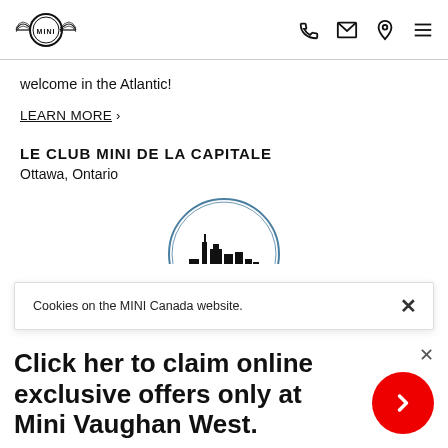MINI logo and navigation icons (phone, email, location, menu)
welcome in the Atlantic!
LEARN MORE  >
LE CLUB MINI DE LA CAPITALE
Ottawa, Ontario
[Figure (logo): Circular city skyline logo for Le Club MINI de la Capitale, partially visible]
Cookies on the MINI Canada website.
Click her to claim online exclusive offers only at Mini Vaughan West.